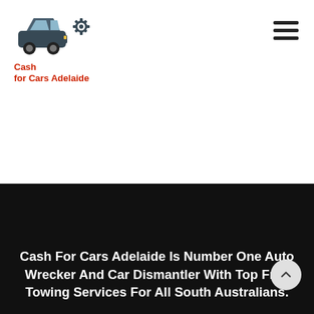[Figure (logo): Cash for Cars Adelaide logo with car and gear icon in dark teal/grey, and red text reading 'Cash for Cars Adelaide']
[Figure (other): Hamburger menu icon (three horizontal black lines) in top right corner]
Cash For Cars Adelaide Is Number One Auto Wrecker And Car Dismantler With Top Free Towing Services For All South Australians.